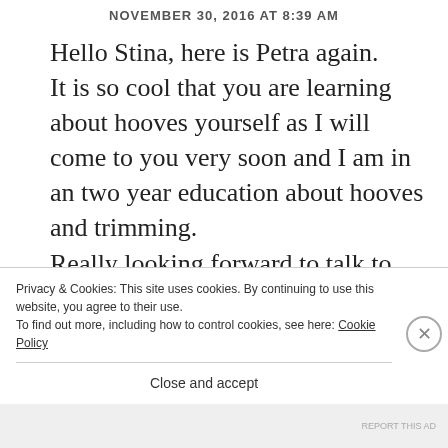NOVEMBER 30, 2016 AT 8:39 AM
Hello Stina, here is Petra again.
It is so cool that you are learning about hooves yourself as I will come to you very soon and I am in an two year education about hooves and trimming.
Really looking forward to talk to you.
In 16 days we will meet each other at St
Privacy & Cookies: This site uses cookies. By continuing to use this website, you agree to their use.
To find out more, including how to control cookies, see here: Cookie Policy
Close and accept